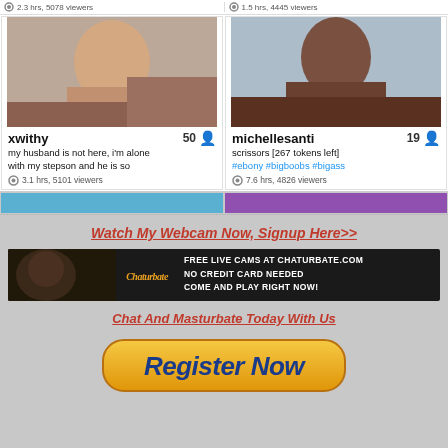2.3 hrs, 5078 viewers | 1.5 hrs, 4445 viewers
[Figure (photo): Livestream thumbnail of xwithy]
xwithy 50 — my husband is not here, i'm alone with my stepson and he is so — 3.1 hrs, 5101 viewers
[Figure (photo): Livestream thumbnail of michellesanti]
michellesanti 19 — scrissors [267 tokens left] #ebony #bigboobs #bigass — 7.6 hrs, 4826 viewers
[Figure (photo): Partial thumbnails of two more livestreams at bottom]
Watch My Webcam Now, Signup Here>>
[Figure (photo): Chaturbate banner ad — FREE LIVE CAMS AT CHATURBATE.COM NO CREDIT CARD NEEDED COME AND PLAY RIGHT NOW!]
Chat And Masturbate Today With Us
Register Now